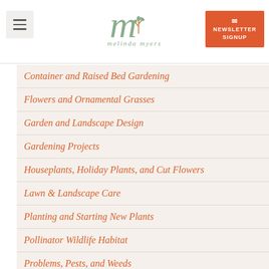melinda myers — website header with menu button, logo, and newsletter signup
Container and Raised Bed Gardening
Flowers and Ornamental Grasses
Garden and Landscape Design
Gardening Projects
Houseplants, Holiday Plants, and Cut Flowers
Lawn & Landscape Care
Planting and Starting New Plants
Pollinator Wildlife Habitat
Problems, Pests, and Weeds
Sustainable Gardening